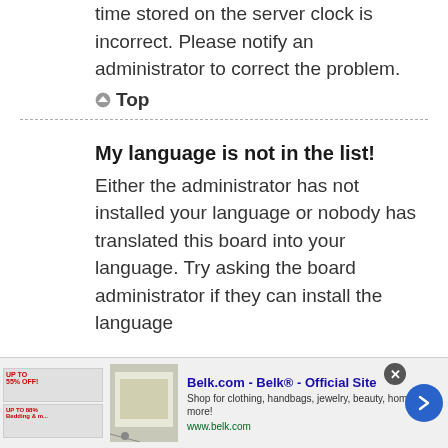time stored on the server clock is incorrect. Please notify an administrator to correct the problem.
Top
My language is not in the list!
Either the administrator has not installed your language or nobody has translated this board into your language. Try asking the board administrator if they can install the language
[Figure (screenshot): Advertisement banner for Belk.com - Belk Official Site. Shows ad close button, small thumbnail banners, product image, ad title, description and navigation arrow.]